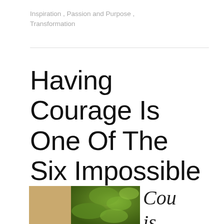Inspiration , Passion and Purpose , Transformation
Having Courage Is One Of The Six Impossible Things
[Figure (photo): Partial photo showing a person and green foliage/moss background, with italic text 'Cou... is...' visible to the right side]